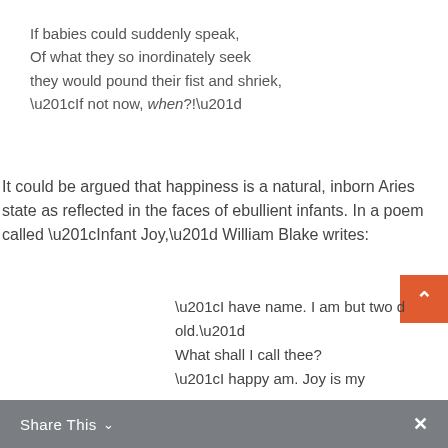If babies could suddenly speak,
Of what they so inordinately seek
they would pound their fist and shriek,
“If not now, when?!”
It could be argued that happiness is a natural, inborn Aries state as reflected in the faces of ebullient infants. In a poem called “Infant Joy,” William Blake writes:
“I have name. I am but two d old.”
What shall I call thee?
“I happy am. Joy is my name.”
Share This ⌄  ×